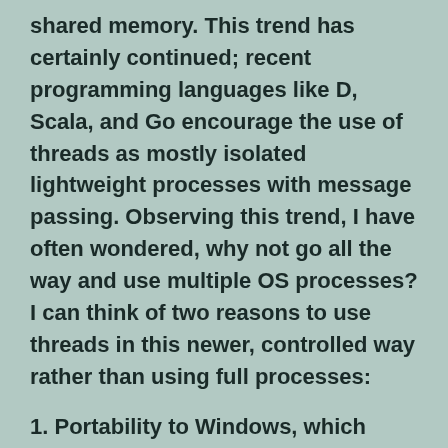shared memory. This trend has certainly continued; recent programming languages like D, Scala, and Go encourage the use of threads as mostly isolated lightweight processes with message passing. Observing this trend, I have often wondered, why not go all the way and use multiple OS processes? I can think of two reasons to use threads in this newer, controlled way rather than using full processes:
1. Portability to Windows, which doesn't